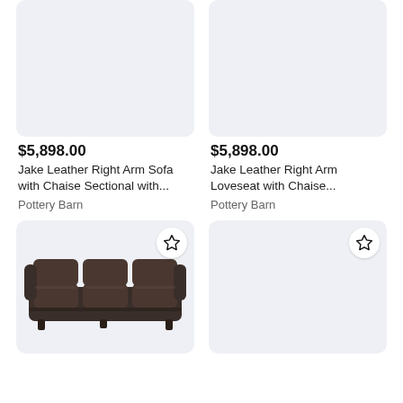[Figure (photo): Light blue-gray placeholder image for Jake Leather Right Arm Sofa product card (top left)]
$5,898.00
Jake Leather Right Arm Sofa with Chaise Sectional with...
Pottery Barn
[Figure (photo): Light blue-gray placeholder image for Jake Leather Right Arm Loveseat product card (top right)]
$5,898.00
Jake Leather Right Arm Loveseat with Chaise...
Pottery Barn
[Figure (photo): Photo of a dark brown leather three-seat sofa with rounded arms and low profile legs (bottom left card)]
[Figure (photo): Light blue-gray placeholder image for a fourth product card (bottom right)]